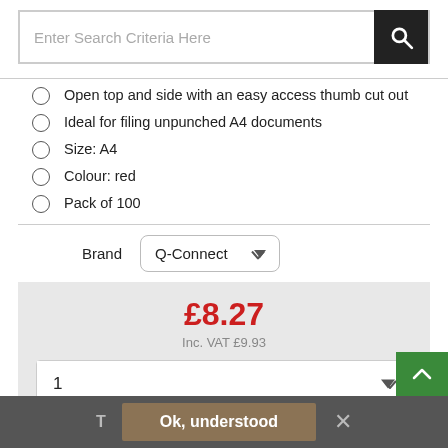[Figure (screenshot): Search bar with text input placeholder 'Enter Search Criteria Here' and a dark search button with magnifying glass icon]
Open top and side with an easy access thumb cut out
Ideal for filing unpunched A4 documents
Size: A4
Colour: red
Pack of 100
Brand  Q-Connect
£8.27  Inc. VAT £9.93
Add to Basket
Ok, understood